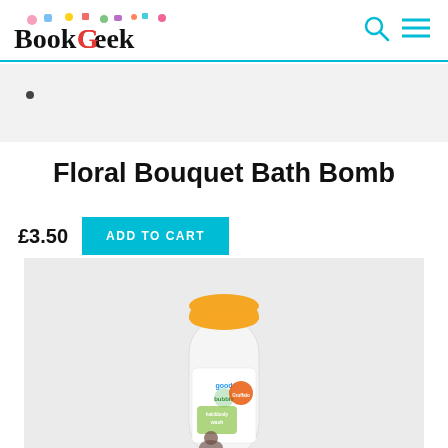BookGeek
Floral Bouquet Bath Bomb
£3.50
ADD TO CART
[Figure (photo): Good Bubble hair and body wash bottle with orange cap and Gruffalo branding]